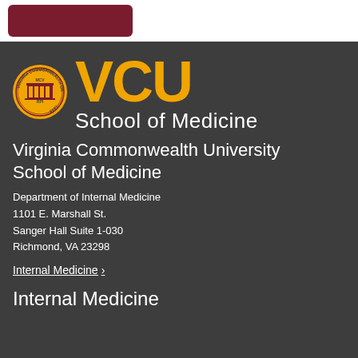[Figure (logo): VCU School of Medicine logo with university seal and gold VCU letters]
Virginia Commonwealth University School of Medicine
Department of Internal Medicine
1101 E. Marshall St.
Sanger Hall Suite 1-030
Richmond, VA 23298
Internal Medicine >
Internal Medicine